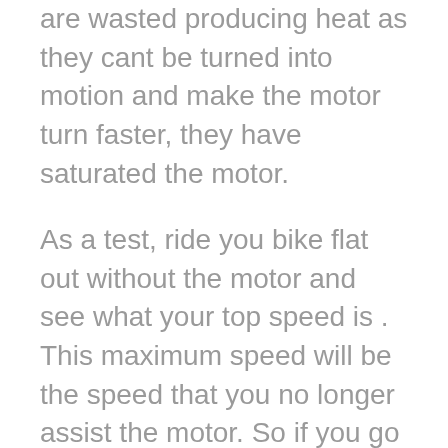are wasted producing heat as they cant be turned into motion and make the motor turn faster, they have saturated the motor.
As a test, ride you bike flat out without the motor and see what your top speed is . This maximum speed will be the speed that you no longer assist the motor. So if you go faster, don't fool yourself, stop pedaling and use the throttle and see if the motor is laboring or not. If you want to sustain this speed. Use the gear that lets motor spin fast but maintain the speed (not labor).
This is a generalisism, as some very fit riders can achieve higher speeds in higher pas without over heating as they have a much higher spin rate, are lighter and powerful enough to push big gears ( do